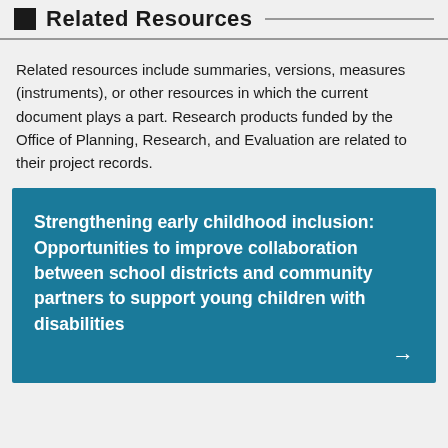Related Resources
Related resources include summaries, versions, measures (instruments), or other resources in which the current document plays a part. Research products funded by the Office of Planning, Research, and Evaluation are related to their project records.
Strengthening early childhood inclusion: Opportunities to improve collaboration between school districts and community partners to support young children with disabilities